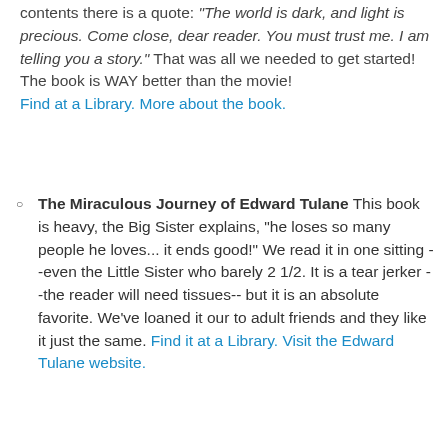contents there is a quote: "The world is dark, and light is precious.  Come close, dear reader.  You must trust me.  I am telling you a story."  That was all we needed to get started!  The book is WAY better than the movie!  Find at a Library.  More about the book.
The Miraculous Journey of Edward Tulane  This book is heavy, the Big Sister explains, "he loses so many people he loves... it ends good!"  We read it in one sitting --even the Little Sister who barely 2 1/2.  It is a tear jerker --the reader will need tissues-- but it is an absolute favorite.  We've loaned it our to adult friends and they like it just the same.  Find it at a Library.  Visit the Edward Tulane website.